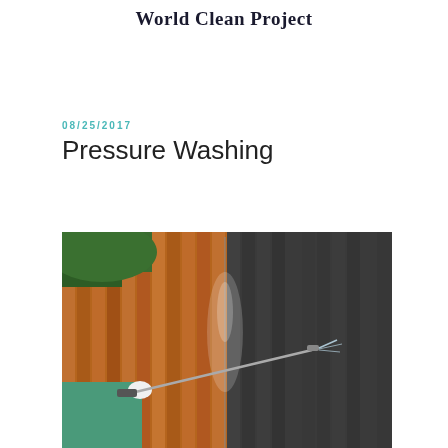World Clean Project
08/25/2017
Pressure Washing
[Figure (photo): A person in a green jacket using a pressure washer with a lance to clean a wooden fence. The left side of the fence is the original brown/orange wood color, and the right side appears dark grey/black where it has been cleaned and is wet.]